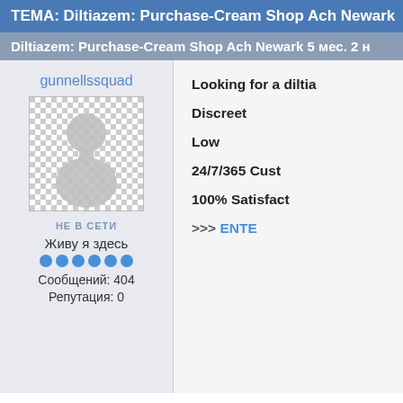ТЕМА: Diltiazem: Purchase-Cream Shop Ach Newark
Diltiazem: Purchase-Cream Shop Ach Newark 5 мес. 2 н
gunnellssquad
[Figure (illustration): Default user avatar with checkered background]
НЕ В СЕТИ
Живу я здесь
●●●●●●
Сообщений: 404
Репутация: 0
Looking for a diltia
Discreet
Low
24/7/365 Cust
100% Satisfact
>>> ENTE